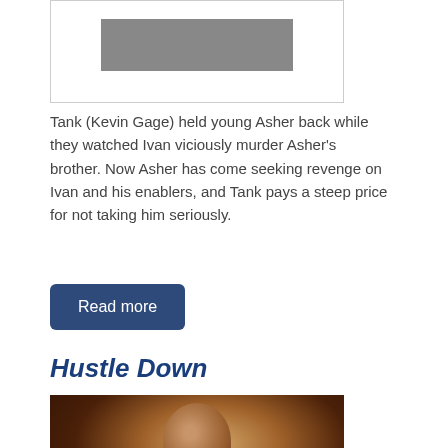[Figure (photo): Partially visible movie/product image box with a gray rectangle inside on white background]
Tank (Kevin Gage) held young Asher back while they watched Ivan viciously murder Asher's brother. Now Asher has come seeking revenge on Ivan and his enablers, and Tank pays a steep price for not taking him seriously.
Read more
Hustle Down
[Figure (photo): A muscular, bald, bearded man with tattoos on his arm, photographed against a dark brown background, leaning forward with a stern expression.]